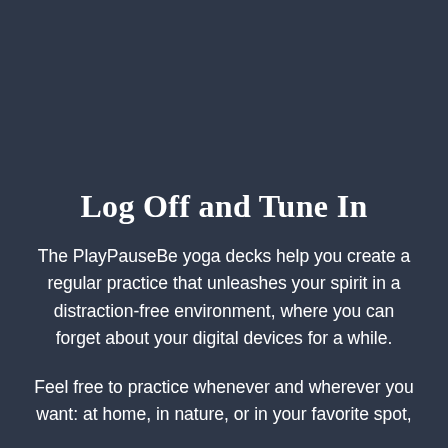Log Off and Tune In
The PlayPauseBe yoga decks help you create a regular practice that unleashes your spirit in a distraction-free environment, where you can forget about your digital devices for a while.
Feel free to practice whenever and wherever you want: at home, in nature, or in your favorite spot,